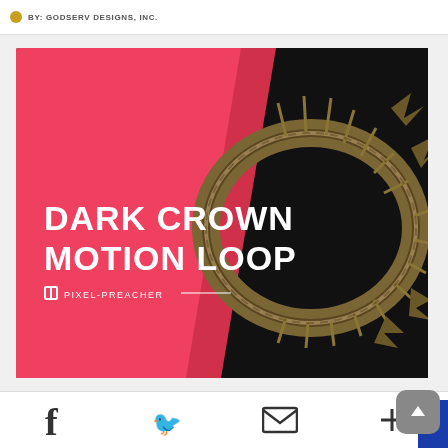BY: GODSERV DESIGNS, INC.
[Figure (illustration): Dark Crown Motion Loop product image — pink/red left panel with bold white text 'DARK CROWN MOTION LOOP' and Pixel-Preacher logo, dark right panel showing a crown of thorns on black background]
Dark Crown Motion Loop